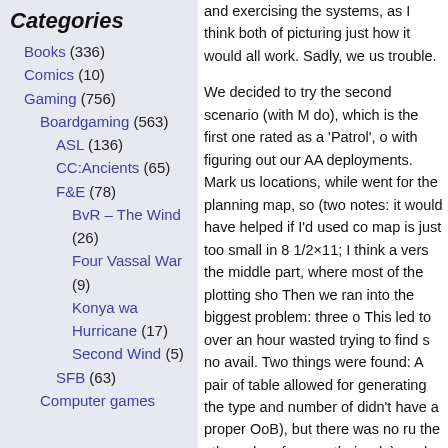Categories
Books (336)
Comics (10)
Gaming (756)
Boardgaming (563)
ASL (136)
CC:Ancients (65)
F&E (78)
BvR – The Wind (26)
Four Vassal War (9)
Konya wa Hurricane (17)
Second Wind (5)
SFB (63)
Computer games
and exercising the systems, as I think both of picturing just how it would all work. Sadly, we us trouble.
We decided to try the second scenario (with M do), which is the first one rated as a 'Patrol', o with figuring out our AA deployments. Mark us locations, while went for the planning map, so (two notes: it would have helped if I'd used co map is just too small in 8 1/2×11; I think a vers the middle part, where most of the plotting sho Then we ran into the biggest problem: three o This led to over an hour wasted trying to find s no avail. Two things were found: A pair of table allowed for generating the type and number of didn't have a proper OoB), but there was no ru the others do reference their rule), and no me sentence in general setup rules of the Playbo which type with XxType meaning the player w will be used." Which means that the scenarios do… you roll to see how many you get? We ev and that Mark really should be using what was anyway), and that I should use the unmentione anyway.
Physical set up was fairly easy, partly aided by